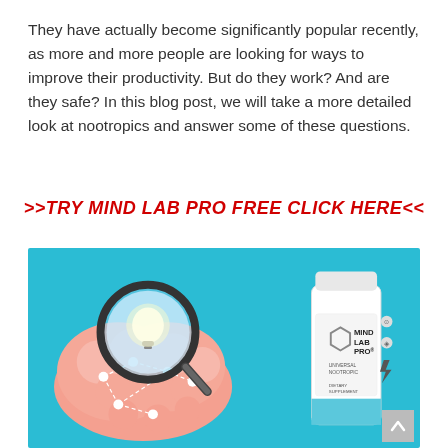They have actually become significantly popular recently, as more and more people are looking for ways to improve their productivity. But do they work? And are they safe? In this blog post, we will take a more detailed look at nootropics and answer some of these questions.
>>TRY MIND LAB PRO FREE CLICK HERE<<
[Figure (illustration): Blue background image showing a pink brain illustration with a magnifying glass containing a light bulb, network nodes connected by dashed lines overlaid on the brain, and a white bottle of Mind Lab Pro dietary supplement on the right side.]